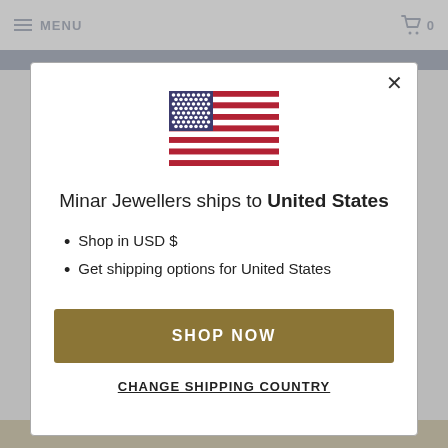MENU   0
[Figure (illustration): United States flag SVG inline illustration]
Minar Jewellers ships to United States
Shop in USD $
Get shipping options for United States
SHOP NOW
CHANGE SHIPPING COUNTRY